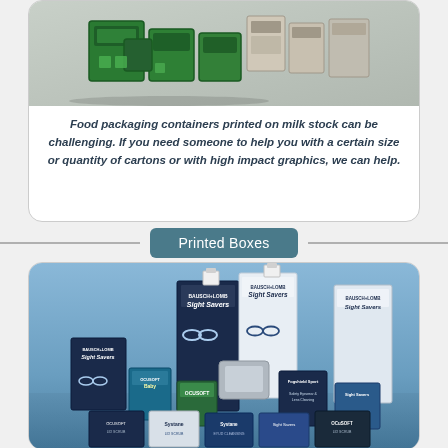[Figure (photo): Photo of green food packaging containers/cartons printed on milk stock, arranged as product display]
Food packaging containers printed on milk stock can be challenging. If you need someone to help you with a certain size or quantity of cartons or with high impact graphics, we can help.
Printed Boxes
[Figure (photo): Photo of various printed product boxes including Bausch+Lomb Sight Savers, Systane, OcuSOFT, and other eye care product packaging arranged in a display]